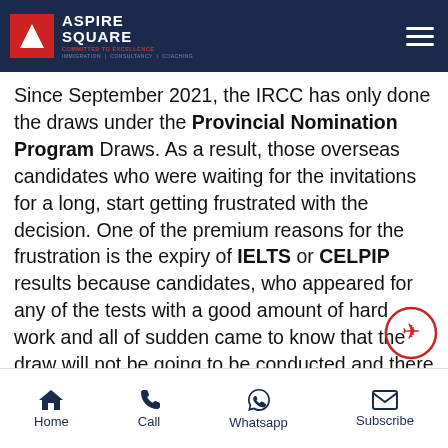Aspire Square — Immigration | Consultancy | Coaching
Since September 2021, the IRCC has only done the draws under the Provincial Nomination Program Draws. As a result, those overseas candidates who were waiting for the invitations for a long, start getting frustrated with the decision. One of the premium reasons for the frustration is the expiry of IELTS or CELPIP results because candidates, who appeared for any of the tests with a good amount of hard work and all of sudden came to know that the draw will not be going to be conducted and there will no specification that till when the draws will begin. Meanwhile, many of the
Home | Call | Whatsapp | Subscribe